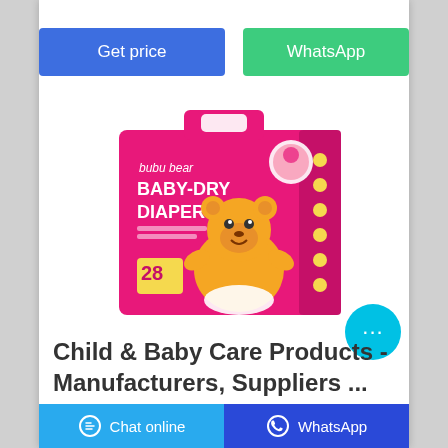[Figure (other): Two buttons: blue 'Get price' button and green 'WhatsApp' button]
[Figure (photo): Bubu Bear Baby-Dry Diapers product package, pink box with cartoon bear, count 28]
Child & Baby Care Products - Manufacturers, Suppliers ...
Chat online    WhatsApp